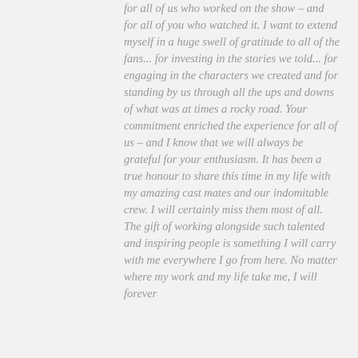for all of us who worked on the show – and for all of you who watched it. I want to extend myself in a huge swell of gratitude to all of the fans... for investing in the stories we told... for engaging in the characters we created and for standing by us through all the ups and downs of what was at times a rocky road. Your commitment enriched the experience for all of us – and I know that we will always be grateful for your enthusiasm. It has been a true honour to share this time in my life with my amazing cast mates and our indomitable crew. I will certainly miss them most of all. The gift of working alongside such talented and inspiring people is something I will carry with me everywhere I go from here. No matter where my work and my life take me, I will forever